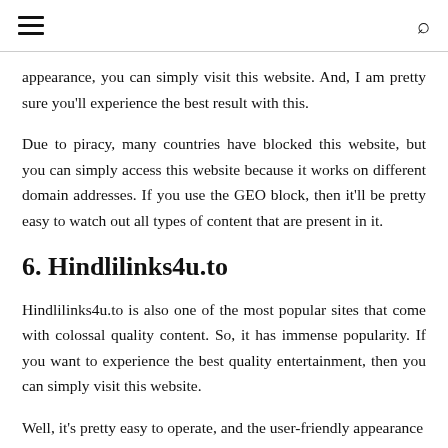≡  🔍
appearance, you can simply visit this website. And, I am pretty sure you'll experience the best result with this.
Due to piracy, many countries have blocked this website, but you can simply access this website because it works on different domain addresses. If you use the GEO block, then it'll be pretty easy to watch out all types of content that are present in it.
6. Hindlilinks4u.to
Hindlilinks4u.to is also one of the most popular sites that come with colossal quality content. So, it has immense popularity. If you want to experience the best quality entertainment, then you can simply visit this website.
Well, it's pretty easy to operate, and the user-friendly appearance